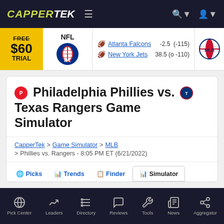CAPPERTEK
[Figure (screenshot): NFL ticker showing Atlanta Falcons -2.5 (-115) and New York Jets 38.5 (o -110) odds]
Philadelphia Phillies vs. Texas Rangers Game Simulator
CapperTek > Game Simulator > MLB > Phillies vs. Rangers - 8:05 PM ET (6/21/2022)
Picks | Trends | Finder | Simulator
Pick Center | Leaders | Directory | Reviews | Tools | News | Aggregator